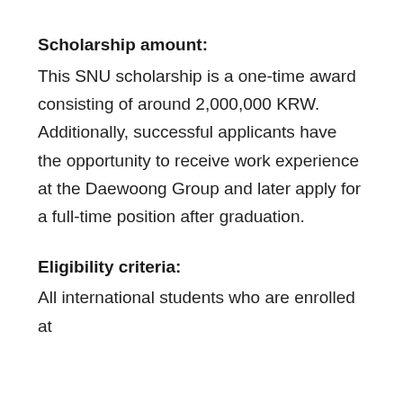Scholarship amount:
This SNU scholarship is a one-time award consisting of around 2,000,000 KRW. Additionally, successful applicants have the opportunity to receive work experience at the Daewoong Group and later apply for a full-time position after graduation.
Eligibility criteria:
All international students who are enrolled at